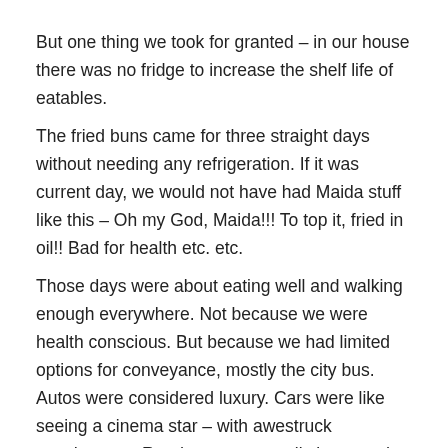But one thing we took for granted – in our house there was no fridge to increase the shelf life of eatables.
The fried buns came for three straight days without needing any refrigeration. If it was current day, we would not have had Maida stuff like this – Oh my God, Maida!!! To top it, fried in oil!! Bad for health etc. etc.
Those days were about eating well and walking enough everywhere. Not because we were health conscious. But because we had limited options for conveyance, mostly the city bus. Autos were considered luxury. Cars were like seeing a cinema star – with awestruck wonderment. Roads were generally less used by vehicles and more by people. Those were the days we had time for small gossip and to share any aches and pains. The food cooked in the neighbor's house smelt heavenly, not only because it was cooked well but also because there was less pollution that the flavors got carried intact to our houses too.
There also were…